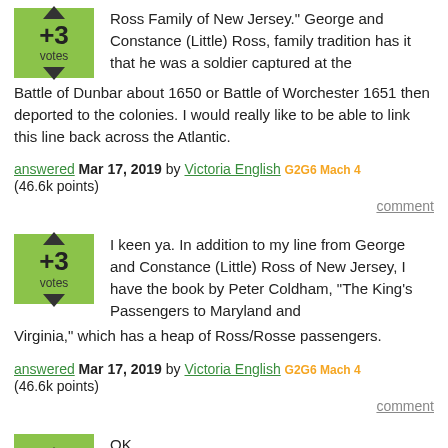Ross Family of New Jersey." George and Constance (Little) Ross, family tradition has it that he was a soldier captured at the Battle of Dunbar about 1650 or Battle of Worchester 1651 then deported to the colonies. I would really like to be able to link this line back across the Atlantic.
answered Mar 17, 2019 by Victoria English G2G6 Mach 4 (46.6k points)
comment
I keen ya. In addition to my line from George and Constance (Little) Ross of New Jersey, I have the book by Peter Coldham, "The King's Passengers to Maryland and Virginia," which has a heap of Ross/Rosse passengers.
answered Mar 17, 2019 by Victoria English G2G6 Mach 4 (46.6k points)
comment
OK,